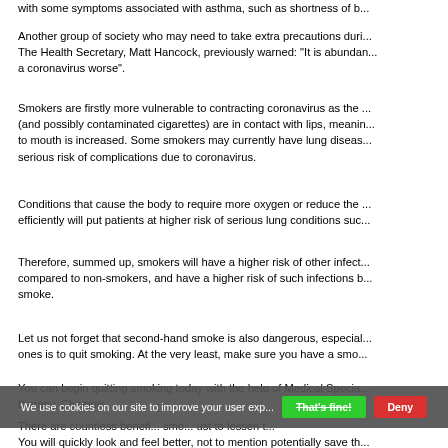with some symptoms associated with asthma, such as shortness of b...
Another group of society who may need to take extra precautions duri... The Health Secretary, Matt Hancock, previously warned: "It is abundan... a coronavirus worse".
Smokers are firstly more vulnerable to contracting coronavirus as the ... (and possibly contaminated cigarettes) are in contact with lips, meanin... to mouth is increased. Some smokers may currently have lung diseas... serious risk of complications due to coronavirus.
Conditions that cause the body to require more oxygen or reduce the ... efficiently will put patients at higher risk of serious lung conditions suc...
Therefore, summed up, smokers will have a higher risk of other infect... compared to non-smokers, and have a higher risk of such infections b... smoke.
Let us not forget that second-hand smoke is also dangerous, especial... ones is to quit smoking. At the very least, make sure you have a smo...
You can begin quitting smoking today with the help of Medical Specia... therapy, Champix.
We use cookies on our site to improve your user exp...
There are countless benefi... smo... ust to lessen t... You will quickly look and feel better, not to mention potentially save th...